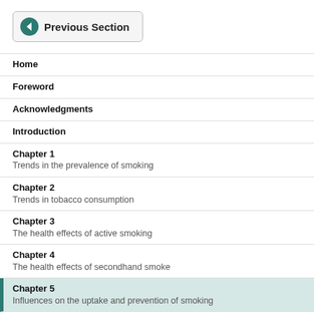[Figure (other): Previous Section navigation button with teal left-arrow icon]
Home
Foreword
Acknowledgments
Introduction
Chapter 1
Trends in the prevalence of smoking
Chapter 2
Trends in tobacco consumption
Chapter 3
The health effects of active smoking
Chapter 4
The health effects of secondhand smoke
Chapter 5
Influences on the uptake and prevention of smoking
Chapter 6
Addiction